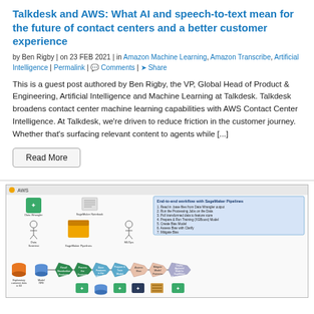Talkdesk and AWS: What AI and speech-to-text mean for the future of contact centers and a better customer experience
by Ben Rigby | on 23 FEB 2021 | in Amazon Machine Learning, Amazon Transcribe, Artificial Intelligence | Permalink | Comments | Share
This is a guest post authored by Ben Rigby, the VP, Global Head of Product & Engineering, Artificial Intelligence and Machine Learning at Talkdesk. Talkdesk broadens contact center machine learning capabilities with AWS Contact Center Intelligence. At Talkdesk, we're driven to reduce friction in the customer journey. Whether that's surfacing relevant content to agents while [...]
Read More
[Figure (flowchart): AWS SageMaker Pipelines end-to-end workflow diagram showing Data Wrangler, SageMaker Notebook, MLOps, SageMaker Pipelines stages including Read/Standardize Features, Process the Features, Store Features in the Feature Store, Prepare & Train Model, Assess Bias, Mitigate Model Fairness, Deploy Approved Model to SageMaker Hosted Endpoint, with icons for data sources and services.]